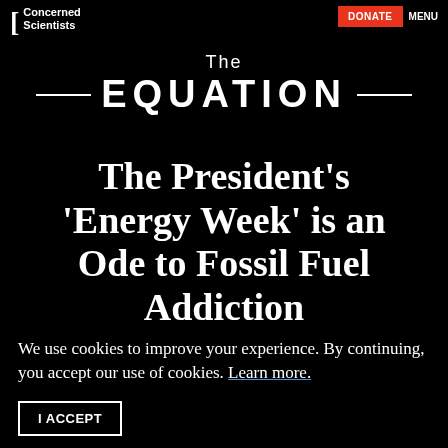Union of Concerned Scientists
The EQUATION
The President's 'Energy Week' is an Ode to Fossil Fuel Addiction
We use cookies to improve your experience. By continuing, you accept our use of cookies. Learn more.
I ACCEPT